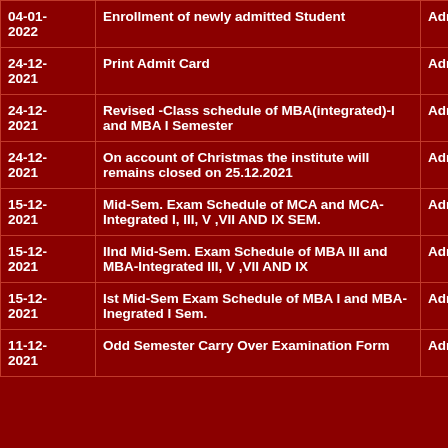| Date | Description | Category |
| --- | --- | --- |
| 04-01-2022 | Enrollment of newly admitted Student | Admin |
| 24-12-2021 | Print Admit Card | Admin |
| 24-12-2021 | Revised -Class schedule of MBA(integrated)-I and MBA I Semester | Admin |
| 24-12-2021 | On account of Christmas the institute will remains closed on 25.12.2021 | Admin |
| 15-12-2021 | Mid-Sem. Exam Schedule of MCA and MCA-Integrated I, III, V ,VII AND IX SEM. | Admin |
| 15-12-2021 | IInd Mid-Sem. Exam Schedule of MBA III and MBA-Integrated III, V ,VII AND IX | Admin |
| 15-12-2021 | Ist Mid-Sem Exam Schedule of MBA I and MBA-Inegrated I Sem. | Admin |
| 11-12-2021 | Odd Semester Carry Over Examination Form | Admin |